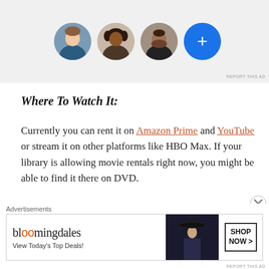[Figure (screenshot): Top advertisement area with profile photo circles (three portrait photos and a blue plus button) on light gray background]
Where To Watch It:
Currently you can rent it on Amazon Prime and YouTube or stream it on other platforms like HBO Max. If your library is allowing movie rentals right now, you might be able to find it there on DVD.
You might even be able to find it for free on
[Figure (screenshot): Bloomingdales advertisement banner with logo, tagline 'View Today's Top Deals!', fashion photo, and SHOP NOW button]